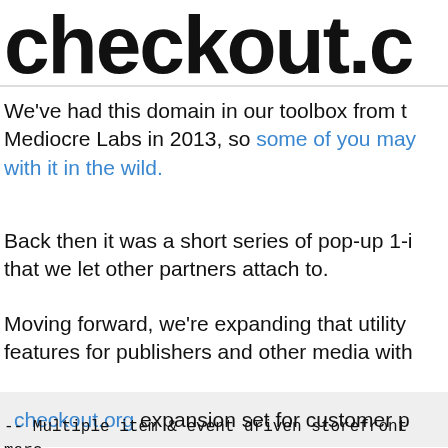[Figure (logo): checkout.c logo in large bold black text, cropped on the right]
We've had this domain in our toolbox from the beginning at Mediocre Labs in 2013, so some of you may have come across it with it in the wild.
Back then it was a short series of pop-up 1-item checkouts that we let other partners attach to.
Moving forward, we're expanding that utility and building out features for publishers and other media with
checkout.org expansion set for customer p
-- Multiple item & event driven storefront merc
-- Private storefront branding